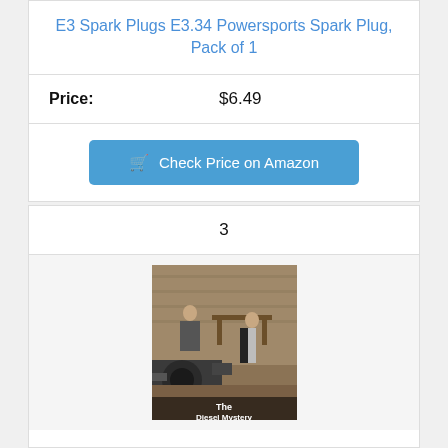E3 Spark Plugs E3.34 Powersports Spark Plug, Pack of 1
Price: $6.49
Check Price on Amazon
3
[Figure (photo): Book cover image showing two people in a workshop/industrial setting with machinery in the foreground. Text at bottom reads 'The Diesel Mystery']